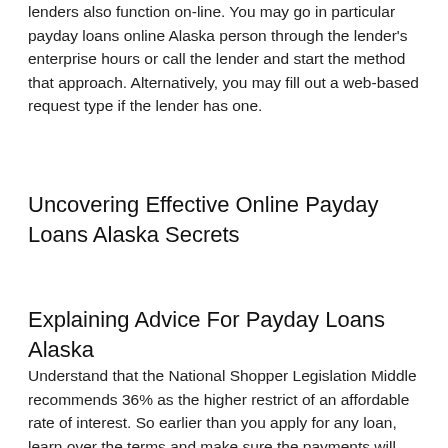lenders also function on-line. You may go in particular payday loans online Alaska person through the lender's enterprise hours or call the lender and start the method that approach. Alternatively, you may fill out a web-based request type if the lender has one.
Uncovering Effective Online Payday Loans Alaska Secrets
Explaining Advice For Payday Loans Alaska
Understand that the National Shopper Legislation Middle recommends 36% as the higher restrict of an affordable rate of interest. So earlier than you apply for any loan, learn over the terms and make sure the payments will slot in your price range. The charges and phrases aren't disclosed on the web site of the